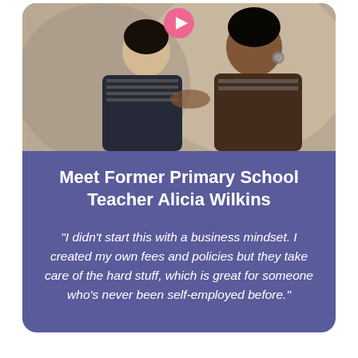[Figure (photo): Photo of a woman and a child together, appearing to be in a tutoring or childcare setting. A pink play button icon is overlaid at the top center of the image.]
Meet Former Primary School Teacher Alicia Wilkins
"I didn't start this with a business mindset. I created my own fees and policies but they take care of the hard stuff, which is great for someone who's never been self-employed before."